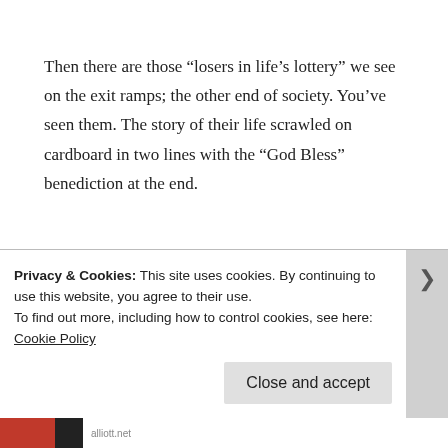Then there are those “losers in life’s lottery” we see on the exit ramps; the other end of society. You’ve seen them. The story of their life scrawled on cardboard in two lines with the “God Bless” benediction at the end.
Brian McLaren writes in his book, The Girl with the Dove Tattoo; “God doesn’t just love the ideal world or the perfect world. God loves the damned world, the
Privacy & Cookies: This site uses cookies. By continuing to use this website, you agree to their use.
To find out more, including how to control cookies, see here: Cookie Policy